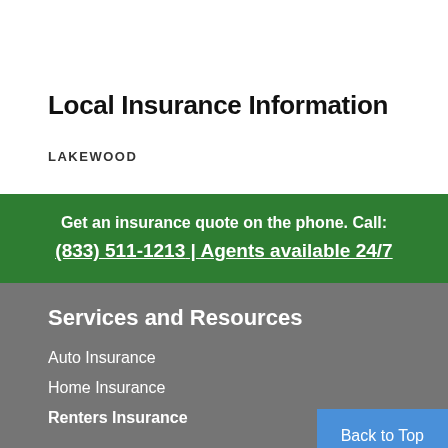Local Insurance Information
LAKEWOOD
Get an insurance quote on the phone. Call: (833) 511-1213 | Agents available 24/7
Services and Resources
Auto Insurance
Home Insurance
Renters Insurance
Back to Top